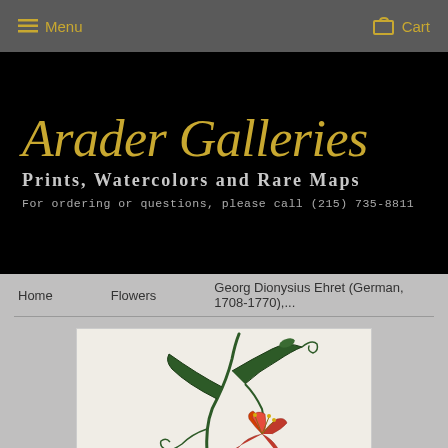Menu   Cart
[Figure (logo): Arader Galleries logo banner on black background with italic gold script title 'Arader Galleries', bold subtitle 'Prints, Watercolors and Rare Maps', and monospace tagline 'For ordering or questions, please call (215) 735-8811']
Home   Flowers   Georg Dionysius Ehret (German, 1708-1770),...
[Figure (illustration): Botanical illustration of a Gloriosa lily plant with dark green curved leaves, red flower with swept-back petals at bottom right, and curling tendrils, on cream-white background]